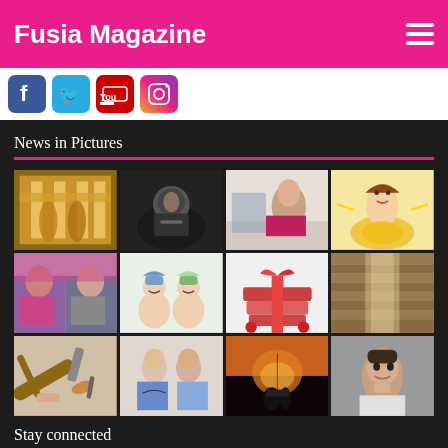Fusia Magazine
[Figure (screenshot): Social media icons row: Facebook, Twitter, YouTube, Instagram]
News in Pictures
[Figure (photo): 3x4 grid of thumbnail photos: fashion show, man in car, woman on couch, retro cartoon woman, two people colorful, illustrated characters with crowns, gift-wrapped books with red balls, library aisle, makeup/guitar items, couple arguing, photographer at sunset, young man posing]
Stay connected
[Figure (screenshot): Social media icons row: Facebook, Twitter, YouTube, Instagram]